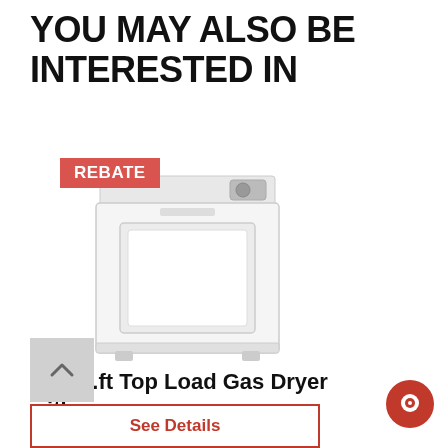YOU MAY ALSO BE INTERESTED IN
[Figure (photo): White top-load gas dryer (Whirlpool) with a REBATE badge in the top-left corner]
7.0 cu.ft Top Load Gas Dryer with...
Whirlpool WGD49STBW
4.6 stars rating
$667.99
See Details